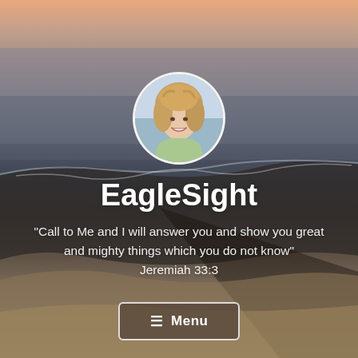[Figure (photo): Background photo of a beach at sunset with ocean waves, sandy shore, warm orange sky gradient at top, dark wave in middle ground, sandy beach in foreground.]
[Figure (photo): Circular profile photo of a smiling woman with light brown/blonde hair, wearing a light green top, at a beach or outdoor setting.]
EagleSight
"Call to Me and I will answer you and show you great and mighty things which you do not know" Jeremiah 33:3
≡ Menu